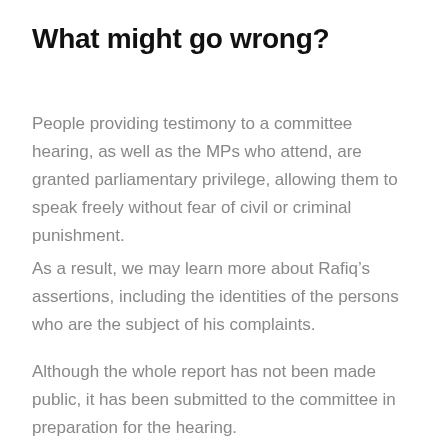What might go wrong?
People providing testimony to a committee hearing, as well as the MPs who attend, are granted parliamentary privilege, allowing them to speak freely without fear of civil or criminal punishment.
As a result, we may learn more about Rafiq’s assertions, including the identities of the persons who are the subject of his complaints.
Although the whole report has not been made public, it has been submitted to the committee in preparation for the hearing.